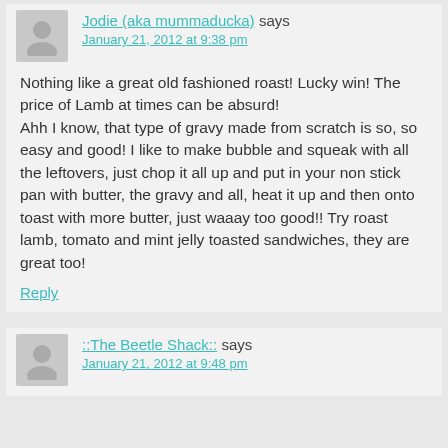Jodie (aka mummaducka) says
January 21, 2012 at 9:38 pm
Nothing like a great old fashioned roast! Lucky win! The price of Lamb at times can be absurd!
Ahh I know, that type of gravy made from scratch is so, so easy and good! I like to make bubble and squeak with all the leftovers, just chop it all up and put in your non stick pan with butter, the gravy and all, heat it up and then onto toast with more butter, just waaay too good!! Try roast lamb, tomato and mint jelly toasted sandwiches, they are great too!
Reply
::The Beetle Shack:: says
January 21, 2012 at 9:48 pm